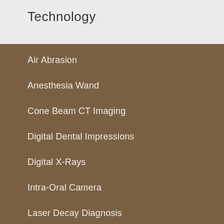Technology
Air Abrasion
Anesthesia Wand
Cone Beam CT Imaging
Digital Dental Impressions
Digital X-Rays
Intra-Oral Camera
Laser Decay Diagnosis
Laser Dentistry